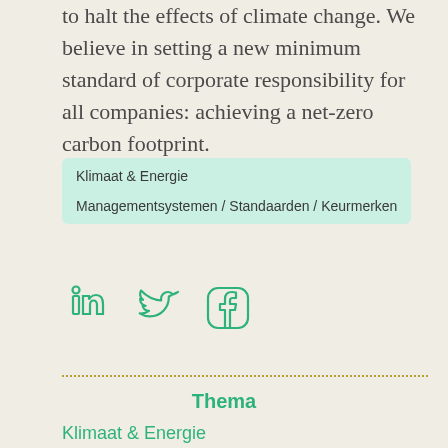to halt the effects of climate change. We believe in setting a new minimum standard of corporate responsibility for all companies: achieving a net-zero carbon footprint.
Klimaat & Energie
Managementsystemen / Standaarden / Keurmerken
[Figure (illustration): Social media icons: LinkedIn, Twitter, Facebook in green outline style]
Thema
Klimaat & Energie